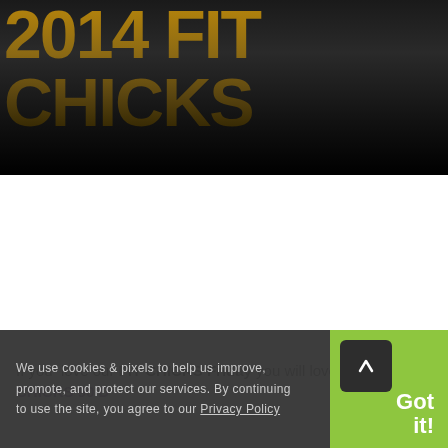[Figure (photo): Dark background hero image with large stylized golden/olive colored text partially visible at the top, fading to black at the bottom. Text appears to read something like '2014 FIT CHICKS' in large decorative font.]
If you  love our FIT CHICKS Friday you will love the FIT CHICKS 90 Day Transformation Challenge and so much
We use cookies & pixels to help us improve, promote, and protect our services. By continuing to use the site, you agree to our Privacy Policy
Got it!